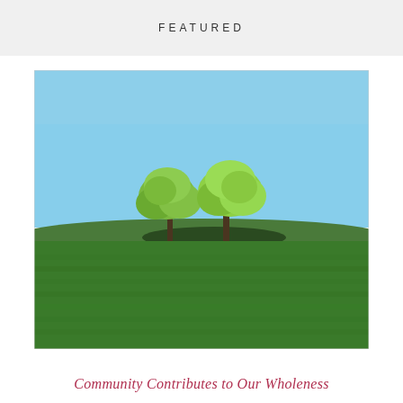FEATURED
[Figure (photo): Landscape photograph of two green trees standing on the horizon of a flat green field under a clear blue sky, with a curved dirt path visible in the lower-left portion of the field.]
Community Contributes to Our Wholeness